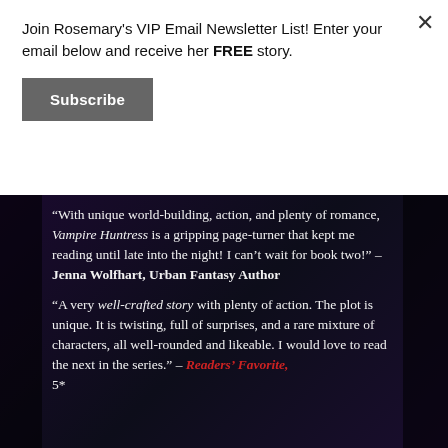Join Rosemary's VIP Email Newsletter List! Enter your email below and receive her FREE story.
Subscribe
“With unique world-building, action, and plenty of romance, Vampire Huntress is a gripping page-turner that kept me reading until late into the night! I can’t wait for book two!” – Jenna Wolfhart, Urban Fantasy Author
“A very well-crafted story with plenty of action. The plot is unique. It is twisting, full of surprises, and a rare mixture of characters, all well-rounded and likeable. I would love to read the next in the series.” – Readers’ Favorite, 5*